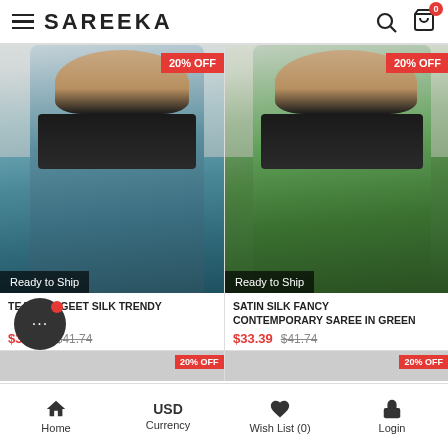SAREEKA
[Figure (photo): Teal saree product photo with 20% OFF badge and Ready to Ship label]
[Figure (photo): Green satin silk saree product photo with 20% OFF badge and Ready to Ship label]
TEAL SANGEET SILK TRENDY
$33.39  $41.74
SATIN SILK FANCY CONTEMPORARY SAREE IN GREEN
$33.39  $41.74
Home   USD Currency   Wish List (0)   Login